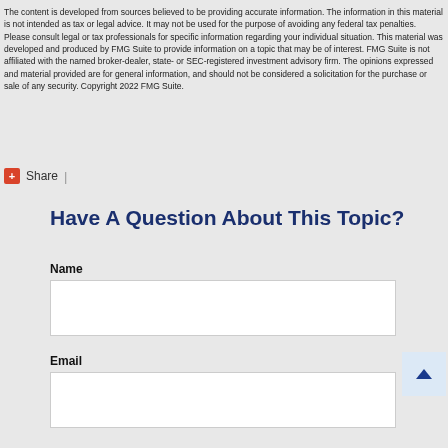The content is developed from sources believed to be providing accurate information. The information in this material is not intended as tax or legal advice. It may not be used for the purpose of avoiding any federal tax penalties. Please consult legal or tax professionals for specific information regarding your individual situation. This material was developed and produced by FMG Suite to provide information on a topic that may be of interest. FMG Suite is not affiliated with the named broker-dealer, state- or SEC-registered investment advisory firm. The opinions expressed and material provided are for general information, and should not be considered a solicitation for the purchase or sale of any security. Copyright 2022 FMG Suite.
Share  |
Have A Question About This Topic?
Name
Email